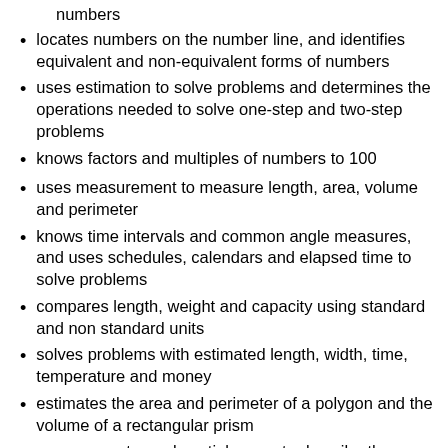locates numbers on the number line, and identifies equivalent and non-equivalent forms of numbers
uses estimation to solve problems and determines the operations needed to solve one-step and two-step problems
knows factors and multiples of numbers to 100
uses measurement to measure length, area, volume and perimeter
knows time intervals and common angle measures, and uses schedules, calendars and elapsed time to solve problems
compares length, weight and capacity using standard and non standard units
solves problems with estimated length, width, time, temperature and money
estimates the area and perimeter of a polygon and the volume of a rectangular prism
uses geometry and spatial sense to describe the attributes of two-dimensional and three-dimensional figures
performs flips, slides, 90 and 180 degree turns and tessellations
knows how area and perimeter are affected when geometric figures are combined
knows how to identify, locate and plot ordered